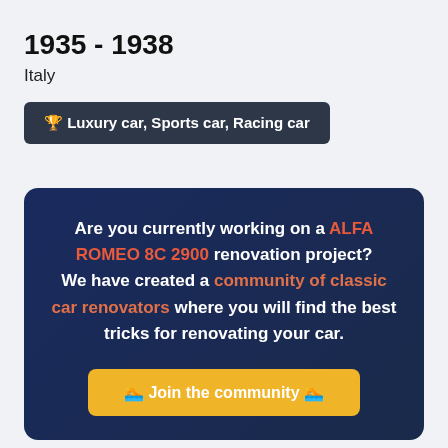1935 - 1938
Italy
🏆 Luxury car, Sports car, Racing car
Are you currently working on a ALFA ROMEO 8C 2900 renovation project? We have created a community of classic car renovators where you will find the best tricks for renovating your car.
🚗 Join the community 🚗
The 8C 2900 was designed to compete in sports races, and the Mille Miglia in particular.